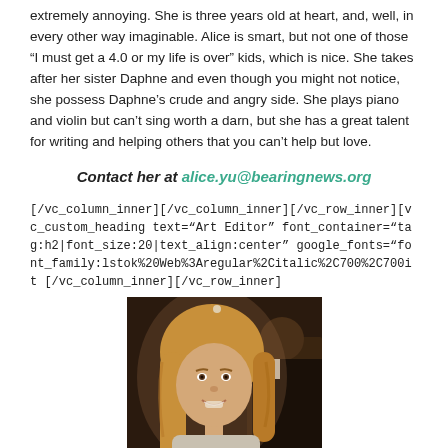extremely annoying. She is three years old at heart, and, well, in every other way imaginable. Alice is smart, but not one of those “I must get a 4.0 or my life is over” kids, which is nice. She takes after her sister Daphne and even though you might not notice, she possess Daphne’s crude and angry side. She plays piano and violin but can’t sing worth a darn, but she has a great talent for writing and helping others that you can’t help but love.
Contact her at alice.yu@bearingnews.org
[/vc_column_inner][/vc_column_inner][/vc_row_inner][vc_custom_heading text=“Art Editor” font_container=“tag:h2|font_size:20|text_align:center” google_fonts=“font_family:lstok%20Web%3Aregular%2Citalic%2C700%2C700it [/vc_column_inner][/vc_row_inner]
[Figure (photo): Photo of a young woman with long reddish-blonde hair, smiling, with a man partially visible in the background]
[/vc_column_inner][vc_text_separator title=“Maddy Mueller” title_align=“separator_align_center” color=“green”]Upon first sight of senior Maddy Mueller, a chill runs up the spine. She seems eerily familiar. Were you once friends in 5th grade? Yes, that must be it, for what else could